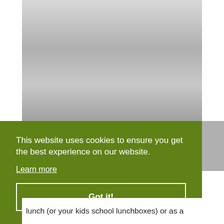[Figure (photo): Photograph area shown as gradient gray rectangle, likely a food or lifestyle image partially visible]
This website uses cookies to ensure you get the best experience on our website.
Learn more
Got it!
lunch (or your kids school lunchboxes) or as a